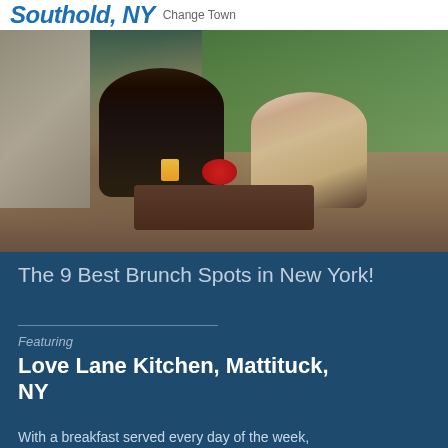Southold, NY  Change Town
[Figure (photo): Two people (a man and a woman) sitting at a cafe/restaurant table outdoors, with a glass of orange juice, flowers, and croissant on the table. Green wall and stone wall visible in background.]
The 9 Best Brunch Spots in New York!
Featuring
Love Lane Kitchen, Mattituck, NY
With a breakfast served every day of the week,